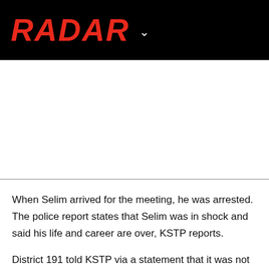RADAR
When Selim arrived for the meeting, he was arrested. The police report states that Selim was in shock and said his life and career are over, KSTP reports.
District 191 told KSTP via a statement that it was not believed any students in the district were involved.